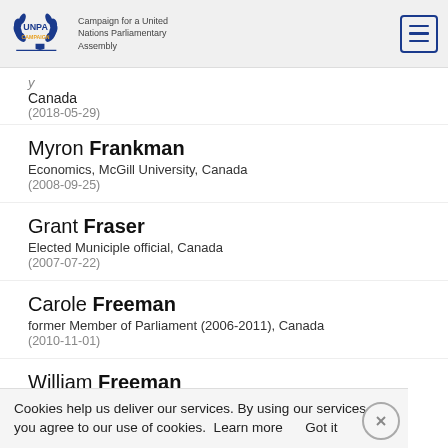UNPA CAMPAIGN — Campaign for a United Nations Parliamentary Assembly
Canada
(2018-05-29)
Myron Frankman
Economics, McGill University, Canada
(2008-09-25)
Grant Fraser
Elected Municiple official, Canada
(2007-07-22)
Carole Freeman
former Member of Parliament (2006-2011), Canada
(2010-11-01)
William Freeman
Canada
Cookies help us deliver our services. By using our services, you agree to our use of cookies.  Learn more     Got it